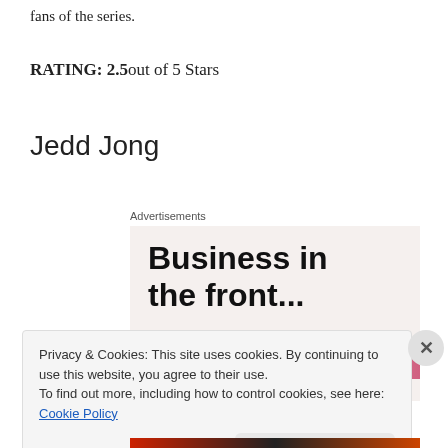fans of the series.
RATING: 2.5out of 5 Stars
Jedd Jong
Advertisements
[Figure (other): Advertisement banner reading 'Business in the front...' with a gradient bar at the bottom in orange and pink tones on a light beige background.]
Privacy & Cookies: This site uses cookies. By continuing to use this website, you agree to their use.
To find out more, including how to control cookies, see here: Cookie Policy
Close and accept